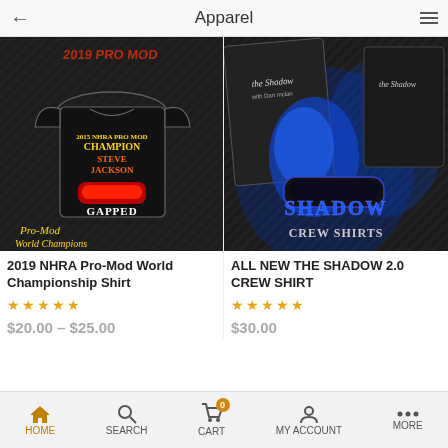Apparel
[Figure (photo): Black t-shirt with 2019 NHRA Pro-Mod World Championship design featuring Steve Jackson and race car, text reads Pro-Mod World Champions and GAPPED]
[Figure (photo): Shadow crew shirts apparel photo showing racing shirt with blue Shadow 2.0 design, CREW SHIRTS text at bottom]
2019 NHRA Pro-Mod World Championship Shirt
ALL NEW THE SHADOW 2.0 CREW SHIRT
☆☆☆☆☆
☆☆☆☆☆
$20.00 – $25.00
$30.00
HOME  SEARCH  CART  MY ACCOUNT  MORE